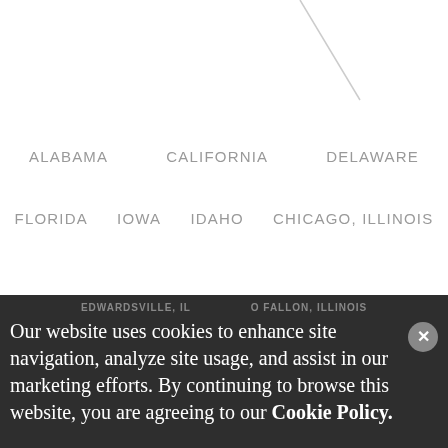[Figure (other): Diagonal gray line in upper right area of white background]
ALABAMA   CALIFORNIA   DELAWARE
FLORIDA   IOWA   IDAHO   CHICAGO, ILLINOIS
EDWARDSVILLE, IL   O FALLON, ILLINOIS
MASSACHUSETTS   MISSOURI   NEW JERSEY
NEW YORK   PHILADELPHIA, PA   PITTSBURGH, PA
Our website uses cookies to enhance site navigation, analyze site usage, and assist in our marketing efforts. By continuing to browse this website, you are agreeing to our Cookie Policy.
WV